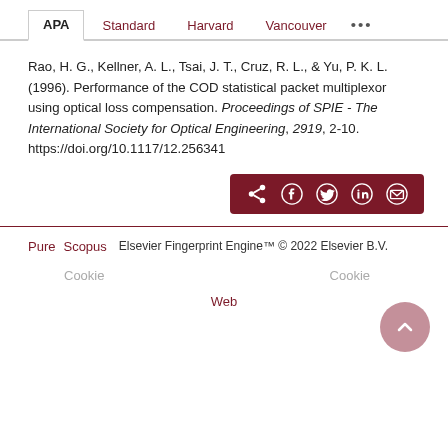APA  Standard  Harvard  Vancouver  ...
Rao, H. G., Kellner, A. L., Tsai, J. T., Cruz, R. L., & Yu, P. K. L. (1996). Performance of the COD statistical packet multiplexor using optical loss compensation. Proceedings of SPIE - The International Society for Optical Engineering, 2919, 2-10. https://doi.org/10.1117/12.256341
[Figure (other): Share buttons row: share icon, Facebook, Twitter, LinkedIn, Email on dark red background]
Pure  Scopus    Elsevier Fingerprint Engine™ © 2022 Elsevier B.V.
Cookie  Cookie  Web